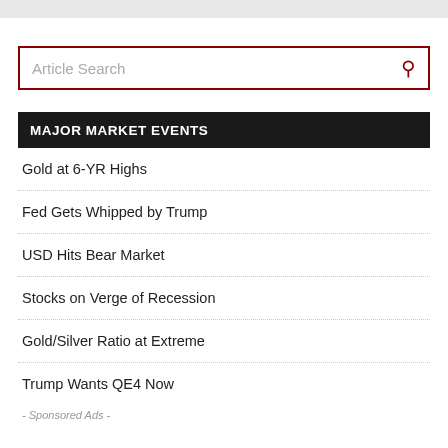MAJOR MARKET EVENTS
Gold at 6-YR Highs
Fed Gets Whipped by Trump
USD Hits Bear Market
Stocks on Verge of Recession
Gold/Silver Ratio at Extreme
Trump Wants QE4 Now
- Sponsored Ads -